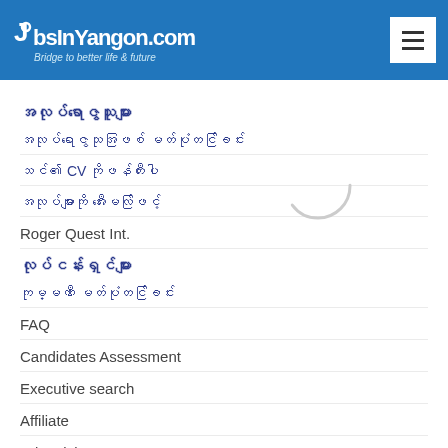JobsInYangon.com — Bridge to better life & future
အလုပ်ရာဇွေသူများ
အလုပ်ရာဇွေသုအဖြစ် မတ်ပုံတင်ခြင်း
သင်၏ CV ကိုဖန်တီးပါ
အလုပ်များကို အီးမေလ်ဖြင့်
Roger Quest Int.
လုပ်ငန်းရှင်များ
ကုမ္မဏီ မတ်ပုံတင်ခြင်း
FAQ
Candidates Assessment
Executive search
Affiliate
Advertising
MyJoboo